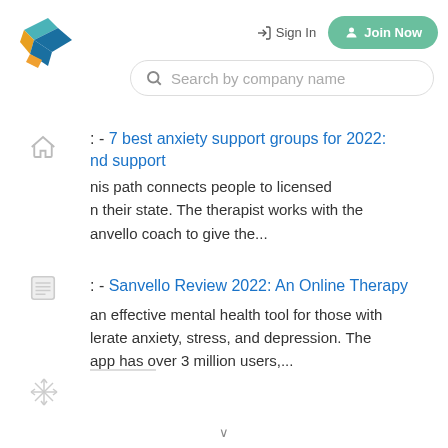[Figure (logo): Colorful 3D cube logo with teal, blue, and orange colors]
Sign In  Join Now
[Figure (screenshot): Search bar with magnifying glass icon and placeholder text 'Search by company name']
- 7 best anxiety support groups for 2022: nd support
[Figure (illustration): Home icon]
nis path connects people to licensed n their state. The therapist works with the anvello coach to give the...
[Figure (illustration): Document/news icon]
- Sanvello Review 2022: An Online Therapy
[Figure (illustration): Snowflake/asterisk decorative icon]
an effective mental health tool for those with lerate anxiety, stress, and depression. The app has over 3 million users,...